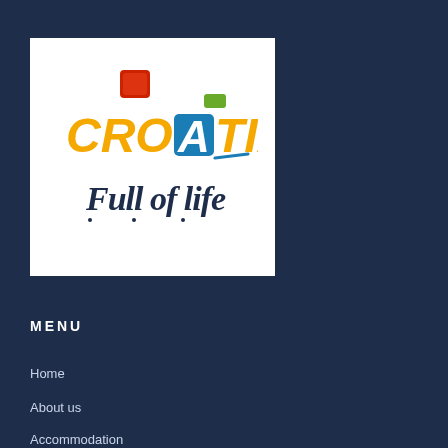[Figure (logo): Croatia Full of Life tourism logo on white background. Features colorful lettering 'CROATIA' in yellow/orange with a blue square containing letter A, a red square above, a green rectangle, and dark navy cursive text 'Full of life' below.]
MENU
Home
About us
Accommodation